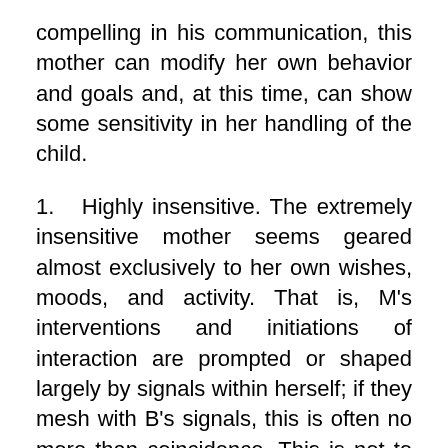compelling in his communication, this mother can modify her own behavior and goals and, at this time, can show some sensitivity in her handling of the child.
1.   Highly insensitive.  The extremely insensitive mother seems geared almost exclusively to her own wishes, moods, and activity.  That is, M's interventions and initiations of interaction are prompted or shaped largely by signals within herself; if they mesh with B's signals, this is often no more than coincidence.  This is not to say that M never responds to B's signals; for sometimes she does if the signals are intense enough, prolonged enough, or often enough repeated.  The delay in response is in itself insensitive